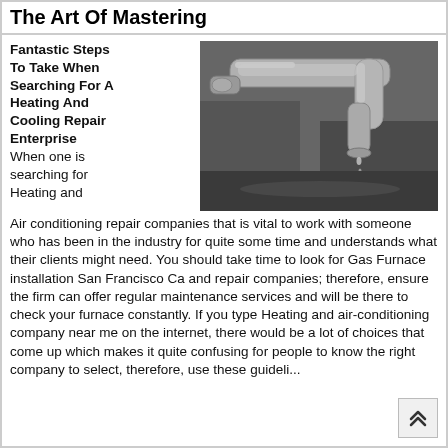The Art Of Mastering
Fantastic Steps To Take When Searching For A Heating And Cooling Repair Enterprise
[Figure (photo): Black and white close-up photo of a dripping water faucet/tap]
When one is searching for Heating and Air conditioning repair companies that is vital to work with someone who has been in the industry for quite some time and understands what their clients might need. You should take time to look for Gas Furnace installation San Francisco Ca and repair companies; therefore, ensure the firm can offer regular maintenance services and will be there to check your furnace constantly. If you type Heating and air-conditioning company near me on the internet, there would be a lot of choices that come up which makes it quite confusing for people to know the right company to select, therefore, use these guidelines.